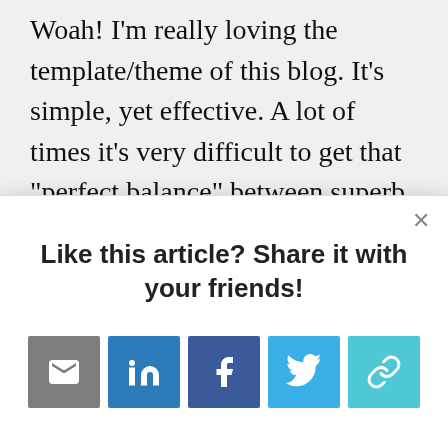Woah! I'm really loving the template/theme of this blog. It's simple, yet effective. A lot of times it's very difficult to get that "perfect balance" between superb usability and visual
[Figure (screenshot): Modal dialog with 'Like this article? Share it with your friends!' heading and social sharing icons: email, LinkedIn, Facebook, Twitter, and link.]